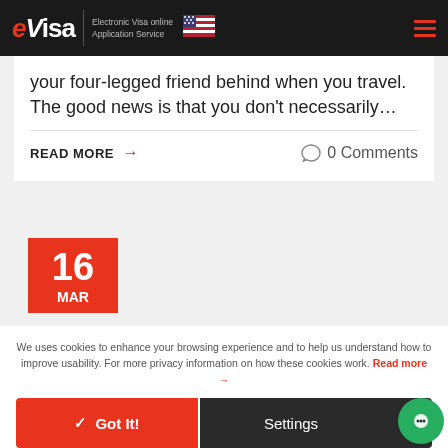eVisa Electronic Visa online Application Service
your four-legged friend behind when you travel. The good news is that you don't necessarily…
READ MORE → 0 Comments
16 MAR
We uses cookies to enhance your browsing experience and to help us understand how to improve usability. For more privacy information on how these cookies work. Read more →
✓ Got It!
Settings